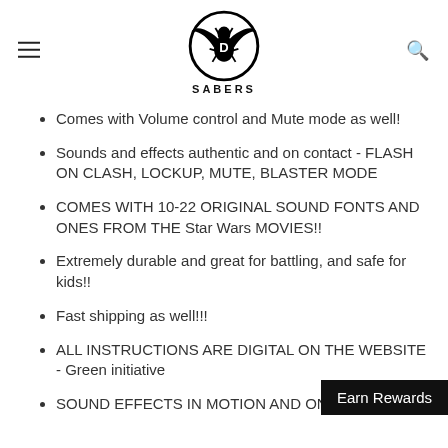[Figure (logo): D Sabers logo: circular emblem with stylized bird/dragon wings and crossed lightsabers, with 'SABERS' text below]
Comes with Volume control and Mute mode as well!
Sounds and effects authentic and on contact - FLASH ON CLASH, LOCKUP, MUTE, BLASTER MODE
COMES WITH 10-22 ORIGINAL SOUND FONTS AND ONES FROM THE Star Wars MOVIES!!
Extremely durable and great for battling, and safe for kids!!
Fast shipping as well!!!
ALL INSTRUCTIONS ARE DIGITAL ON THE WEBSITE - Green initiative
SOUND EFFECTS IN MOTION AND ON…